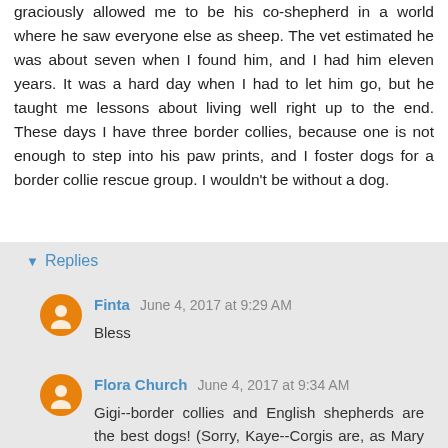graciously allowed me to be his co-shepherd in a world where he saw everyone else as sheep. The vet estimated he was about seven when I found him, and I had him eleven years. It was a hard day when I had to let him go, but he taught me lessons about living well right up to the end. These days I have three border collies, because one is not enough to step into his paw prints, and I foster dogs for a border collie rescue group. I wouldn't be without a dog.
Reply
Replies
Finta  June 4, 2017 at 9:29 AM
Bless
Flora Church  June 4, 2017 at 9:34 AM
Gigi--border collies and English shepherds are the best dogs! (Sorry, Kaye--Corgis are, as Mary says below--adorable!). My mom had a border collie when she and my dad were first married--